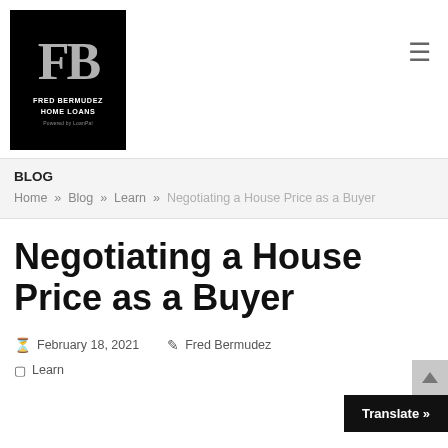[Figure (logo): Fred Bermudez Home Loans logo — black square with large gray FB letters, white text FRED BERMUDEZ HOME LOANS, gray text Powered by LoanPal]
BLOG
Home » Blog » Learn » Negotiating a House Price as a Buyer
Negotiating a House Price as a Buyer
February 18, 2021   Fred Bermudez
Learn